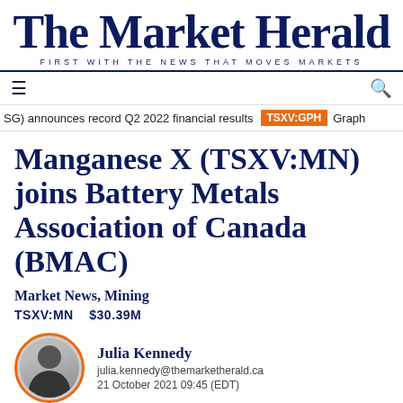The Market Herald
FIRST WITH THE NEWS THAT MOVES MARKETS
SG) announces record Q2 2022 financial results  TSXV:GPH  Graph
Manganese X (TSXV:MN) joins Battery Metals Association of Canada (BMAC)
Market News, Mining
TSXV:MN   $30.39M
Julia Kennedy
julia.kennedy@themarketherald.ca
21 October 2021 09:45 (EDT)